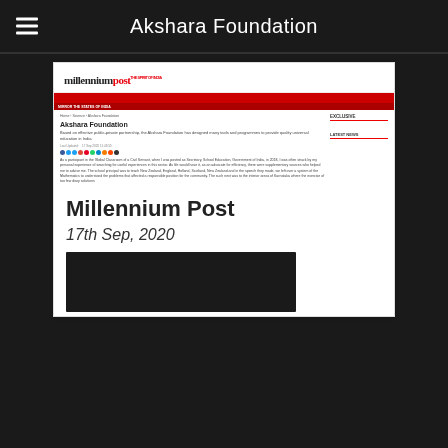Akshara Foundation
[Figure (screenshot): Screenshot of Millennium Post website showing an article about Akshara Foundation, with the website navigation, article title, description, social share buttons, and article body text visible alongside a sidebar with Exclusive and Latest News sections.]
Millennium Post
17th Sep, 2020
[Figure (photo): Dark/black image thumbnail for the article]